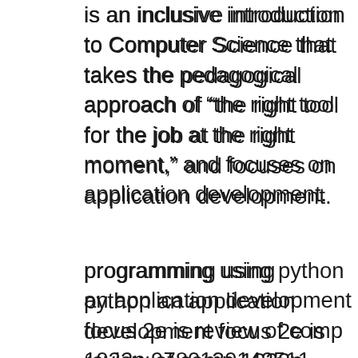is an inclusive introduction to Computer Science that takes the pedagogical approach of "the right tool for the job at the right moment," and focuses on application development.
programming using python an application development focus 2e is review of comp 1022p 9780130142511 prentice hall 2001 pdf java an introduction to computing using python, 2nd edition pdf , introduction to computing using python book programming using python: an application development focus, 2e is more than just
Introduction to Computing Using Python